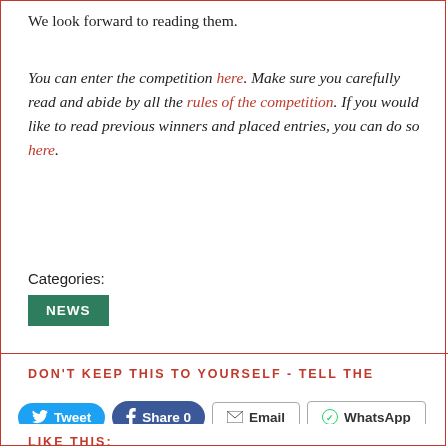We look forward to reading them.
You can enter the competition here. Make sure you carefully read and abide by all the rules of the competition. If you would like to read previous winners and placed entries, you can do so here.
Categories:
NEWS
DON'T KEEP THIS TO YOURSELF - TELL THE WORLD!...
Tweet  Share 0  Email  WhatsApp
LIKE THIS: